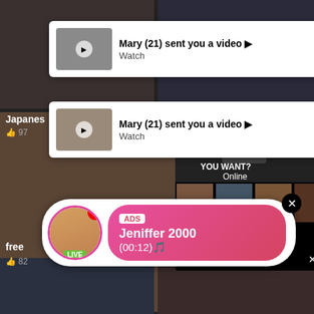[Figure (screenshot): Adult video website screenshot with multiple overlapping ad popups]
Mary (21) sent you a video ▶ Watch
Mary (21) sent you a video ▶ Watch
WHAT DO YOU WANT? WATCH Online
Cumming, ass fucking, squirt or... • ADS
Japanese
👍 97
free
👍 82
ADS Jeniffer 2000 (00:12)🎵 LIVE